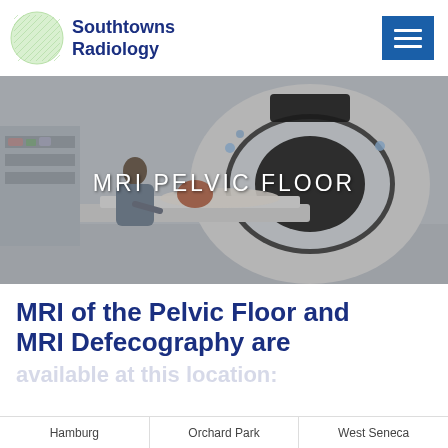[Figure (logo): Southtowns Radiology logo with green circle and blue text]
[Figure (photo): MRI machine room with a technician and patient entering the scanner. Overlay text reads MRI PELVIC FLOOR.]
MRI of the Pelvic Floor and MRI Defecography are available at this location:
Hamburg | Orchard Park | West Seneca